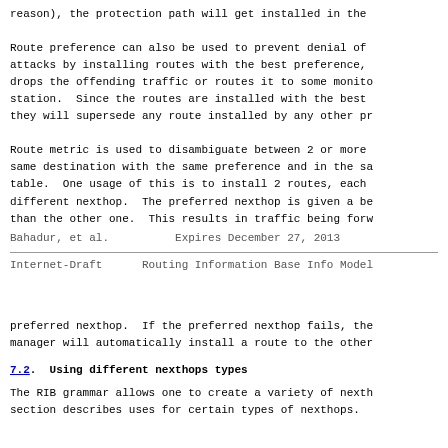reason), the protection path will get installed in the
Route preference can also be used to prevent denial of attacks by installing routes with the best preference, drops the offending traffic or routes it to some monitoring station. Since the routes are installed with the best they will supersede any route installed by any other pr
Route metric is used to disambiguate between 2 or more same destination with the same preference and in the sa table. One usage of this is to install 2 routes, each different nexthop. The preferred nexthop is given a be than the other one. This results in traffic being forw
Bahadur, et al.          Expires December 27, 2013
Internet-Draft       Routing Information Base Info Model
preferred nexthop. If the preferred nexthop fails, the manager will automatically install a route to the other
7.2. Using different nexthops types
The RIB grammar allows one to create a variety of nexth section describes uses for certain types of nexthops.